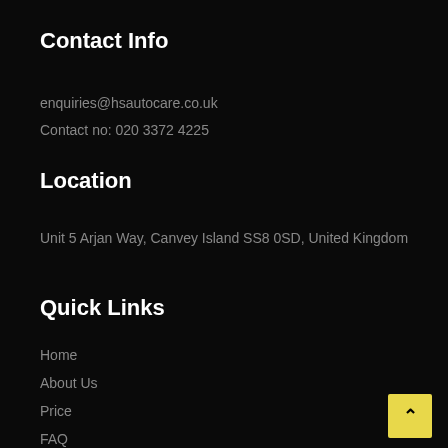Contact Info
enquiries@hsautocare.co.uk
Contact no: 020 3372 4225
Location
Unit 5 Arjan Way, Canvey Island SS8 0SD, United Kingdom
Quick Links
Home
About Us
Price
FAQ
Contact Us